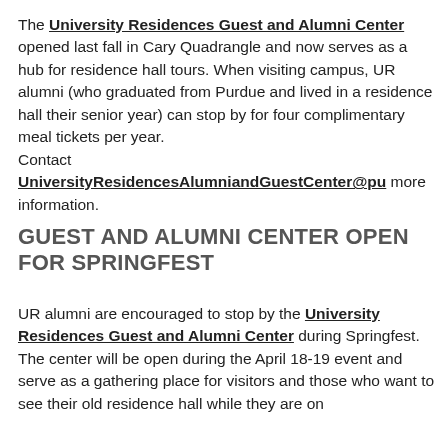The University Residences Guest and Alumni Center opened last fall in Cary Quadrangle and now serves as a hub for residence hall tours. When visiting campus, UR alumni (who graduated from Purdue and lived in a residence hall their senior year) can stop by for four complimentary meal tickets per year. Contact UniversityResidencesAlumniandGuestCenter@pu more information.
GUEST AND ALUMNI CENTER OPEN FOR SPRINGFEST
UR alumni are encouraged to stop by the University Residences Guest and Alumni Center during Springfest. The center will be open during the April 18-19 event and serve as a gathering place for visitors and those who want to see their old residence hall while they are on